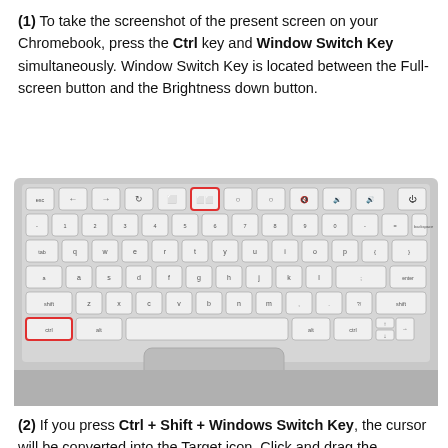(1) To take the screenshot of the present screen on your Chromebook, press the Ctrl key and Window Switch Key simultaneously. Window Switch Key is located between the Full-screen button and the Brightness down button.
[Figure (photo): Photo of a Chromebook keyboard with the Ctrl key (bottom-left) and Window Switch Key (top row, 6th key) highlighted with red outlines.]
(2) If you press Ctrl + Shift + Windows Switch Key, the cursor will be converted into the Target icon. Click and drag the